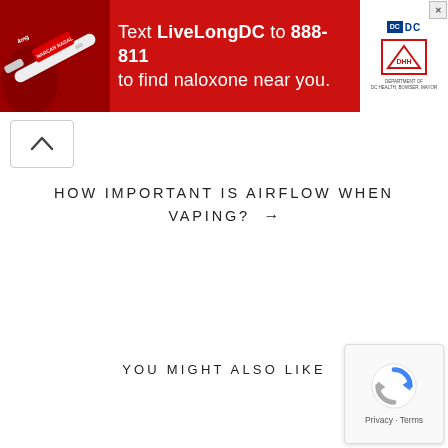[Figure (infographic): Red advertisement banner: 'Text LiveLongDC to 888-811 to find naloxone near you.' with DC and DHH logos on the right, and a photo of a syringe on the left.]
HOW IMPORTANT IS AIRFLOW WHEN VAPING? →
YOU MIGHT ALSO LIKE
[Figure (other): reCAPTCHA badge with rotating arrows icon and 'Privacy - Terms' text.]